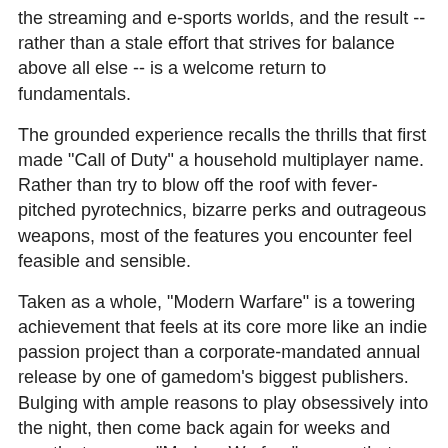the streaming and e-sports worlds, and the result -- rather than a stale effort that strives for balance above all else -- is a welcome return to fundamentals.
The grounded experience recalls the thrills that first made "Call of Duty" a household multiplayer name. Rather than try to blow off the roof with fever-pitched pyrotechnics, bizarre perks and outrageous weapons, most of the features you encounter feel feasible and sensible.
Taken as a whole, "Modern Warfare" is a towering achievement that feels at its core more like an indie passion project than a corporate-mandated annual release by one of gamedom's biggest publishers. Bulging with ample reasons to play obsessively into the night, then come back again for weeks and months to come, "Modern Warfare" proves that -- even in this world of splintered attention -- the blockbuster game event isn't going anywhere. Infinity Ward deserves a salute.
Publisher provided review code.